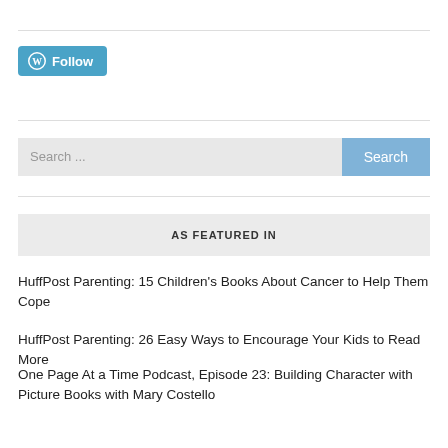[Figure (logo): WordPress Follow button with circular WordPress logo icon in teal/blue color]
[Figure (screenshot): Search bar with light grey input field showing placeholder text 'Search ...' and a blue 'Search' button on the right]
AS FEATURED IN
HuffPost Parenting: 15 Children's Books About Cancer to Help Them Cope
HuffPost Parenting: 26 Easy Ways to Encourage Your Kids to Read More
One Page At a Time Podcast, Episode 23: Building Character with Picture Books with Mary Costello